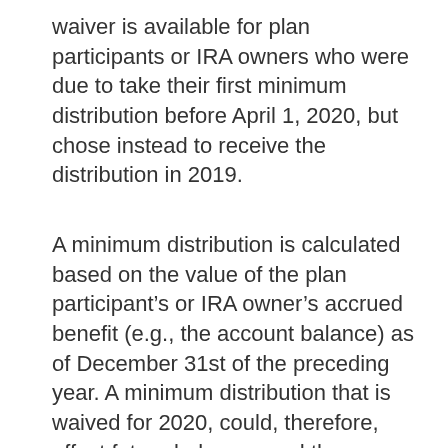waiver is available for plan participants or IRA owners who were due to take their first minimum distribution before April 1, 2020, but chose instead to receive the distribution in 2019.
A minimum distribution is calculated based on the value of the plan participant’s or IRA owner’s accrued benefit (e.g., the account balance) as of December 31st of the preceding year. A minimum distribution that is waived for 2020, could, therefore, affect future balances and the amount of future minimum distributions.
We use cookies to ensure that we give you the best experience on our website. If you continue to use this site we will assume that you agree.